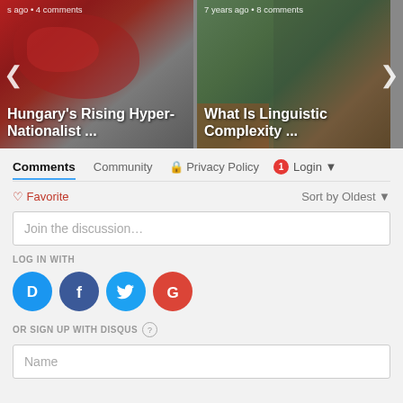[Figure (screenshot): Carousel with two article cards. Left card: 'Hungary's Rising Hyper-Nationalist ...' with map background, metadata '...s ago • 4 comments'. Right card: 'What Is Linguistic Complexity ...' with person background, metadata '7 years ago • 8 comments'. Navigation arrows on sides.]
Comments  Community  🔒 Privacy Policy  1  Login ▾
♡ Favorite    Sort by Oldest ▾
Join the discussion…
LOG IN WITH
[Figure (infographic): Social login icons: Disqus (blue circle with D), Facebook (dark blue circle with f), Twitter (light blue circle with bird), Google (red circle with G)]
OR SIGN UP WITH DISQUS ?
Name